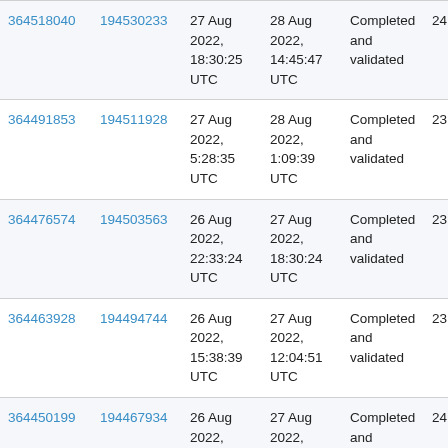| ID1 | ID2 | Start | End | Status | Amount |
| --- | --- | --- | --- | --- | --- |
| 364518040 | 194530233 | 27 Aug 2022, 18:30:25 UTC | 28 Aug 2022, 14:45:47 UTC | Completed and validated | 24,406.34 |
| 364491853 | 194511928 | 27 Aug 2022, 5:28:35 UTC | 28 Aug 2022, 1:09:39 UTC | Completed and validated | 23,968.85 |
| 364476574 | 194503563 | 26 Aug 2022, 22:33:24 UTC | 27 Aug 2022, 18:30:24 UTC | Completed and validated | 23,123.65 |
| 364463928 | 194494744 | 26 Aug 2022, 15:38:39 UTC | 27 Aug 2022, 12:04:51 UTC | Completed and validated | 23,780.63 |
| 364450199 | 194467934 | 26 Aug 2022, 8:20:21 UTC | 27 Aug 2022, 5:28:35 UTC | Completed and validated | 24,917.53 |